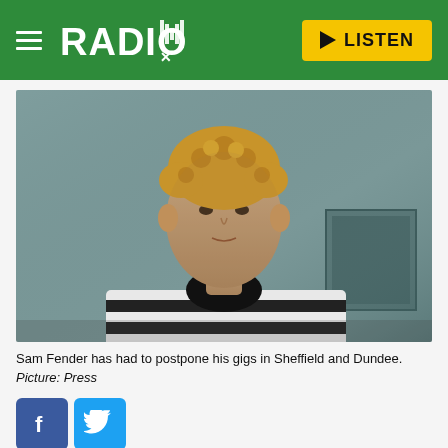RADIO X — LISTEN
[Figure (photo): Young man with curly light brown hair wearing a black and white striped t-shirt and chain necklace, standing against a grey wall outdoors]
Sam Fender has had to postpone his gigs in Sheffield and Dundee.
Picture: Press
[Figure (other): Facebook and Twitter social share icons]